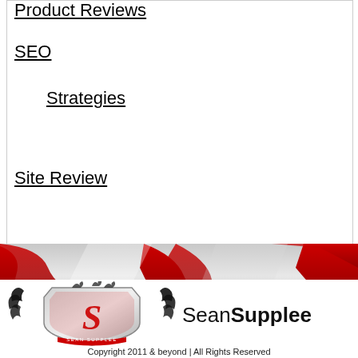Product Reviews
SEO
Strategies
Site Review
[Figure (illustration): Red and grey decorative swoosh banner background]
[Figure (logo): Sean Supplee logo with heraldic shield emblem featuring a stylized S, flanked by wings and tribal decorations, with text 'Sean Supplee' to the right in bold]
Copyright 2011 & beyond | All Rights Reserved